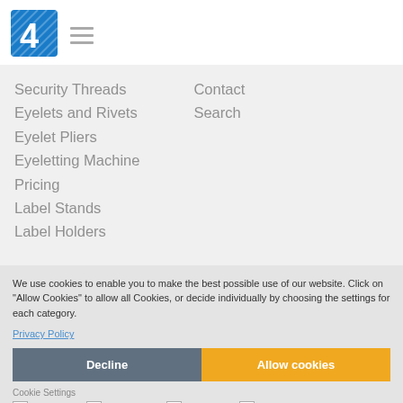[Figure (logo): Blue square logo with white number 4 and diagonal lines]
Security Threads
Contact
Eyelets and Rivets
Search
Eyelet Pliers
Eyeletting Machine
Pricing
Label Stands
Label Holders
We use cookies to enable you to make the best possible use of our website. Click on "Allow Cookies" to allow all Cookies, or decide individually by choosing the settings for each category.
Privacy Policy
Decline
Allow cookies
Cookie Settings
Essential  Functional  Statistics  Marketing